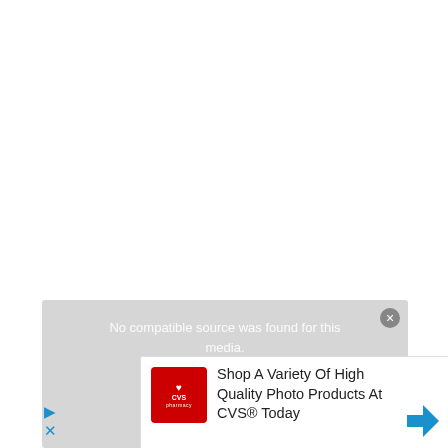[Figure (screenshot): White blank area — top portion of a webpage or video player, mostly white/empty space above a video overlay.]
No compatible source was found for this media.
[Figure (screenshot): Advertisement overlay showing CVS Pharmacy logo (red square with heart and CVS pharmacy text) beside text 'Shop A Variety Of High Quality Photo Products At CVS® Today' with a blue navigation arrow icon on the right, and play/skip icons on the left.]